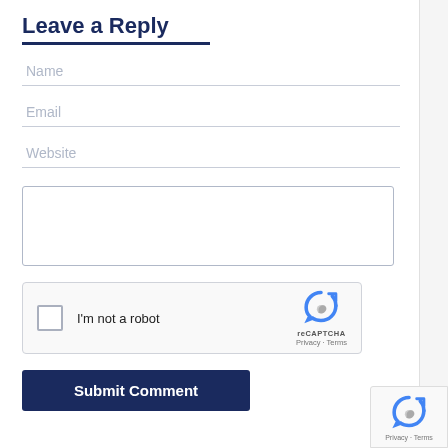Leave a Reply
Name
Email
Website
[Figure (screenshot): Comment textarea box (empty, bordered rectangle)]
[Figure (screenshot): reCAPTCHA widget with checkbox, 'I'm not a robot' label, reCAPTCHA logo, Privacy and Terms links]
[Figure (screenshot): Submit Comment button (dark navy blue)]
[Figure (screenshot): Mini reCAPTCHA badge in bottom-right corner with Privacy and Terms links]